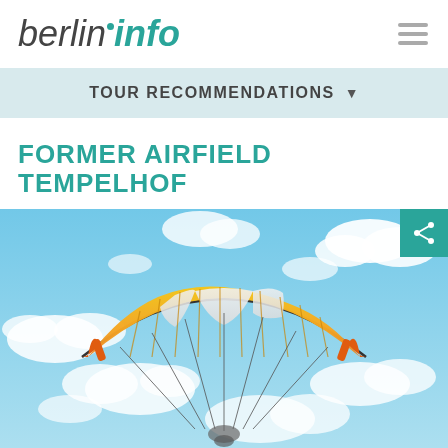berlininfo
TOUR RECOMMENDATIONS
FORMER AIRFIELD TEMPELHOF
[Figure (photo): A yellow and orange paraglider soaring against a blue sky with white clouds, photographed at former airfield Tempelhof, Berlin.]